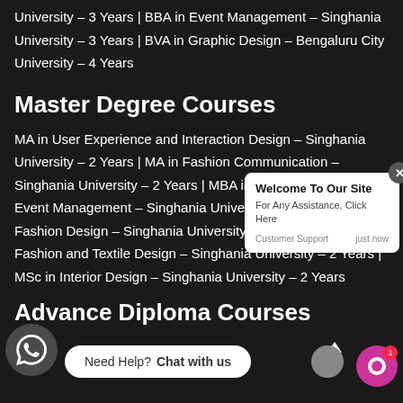University – 3 Years | BBA in Event Management – Singhania University – 3 Years | BVA in Graphic Design – Bengaluru City University – 4 Years
Master Degree Courses
MA in User Experience and Interaction Design – Singhania University – 2 Years | MA in Fashion Communication – Singhania University – 2 Years | MBA in Fashion Business and Event Management – Singhania University – 2 Years | MSc in Fashion Design – Singhania University – 2 Years | MSc in Fashion and Textile Design – Singhania University – 2 Years | MSc in Interior Design – Singhania University – 2 Years
Advance Diploma Courses